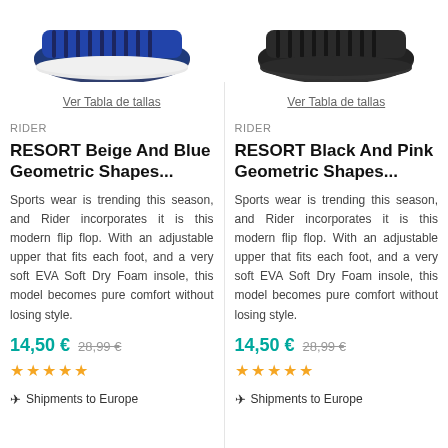[Figure (photo): Blue striped sandal/slide shoe, top-down partial view]
[Figure (photo): Dark/black striped sandal/slide shoe, top-down partial view]
Ver Tabla de tallas
Ver Tabla de tallas
RIDER
RIDER
RESORT Beige And Blue Geometric Shapes...
RESORT Black And Pink Geometric Shapes...
Sports wear is trending this season, and Rider incorporates it is this modern flip flop. With an adjustable upper that fits each foot, and a very soft EVA Soft Dry Foam insole, this model becomes pure comfort without losing style.
Sports wear is trending this season, and Rider incorporates it is this modern flip flop. With an adjustable upper that fits each foot, and a very soft EVA Soft Dry Foam insole, this model becomes pure comfort without losing style.
14,50 € 28,99 €
14,50 € 28,99 €
★★★★★
★★★★★
✈ Shipments to Europe
✈ Shipments to Europe